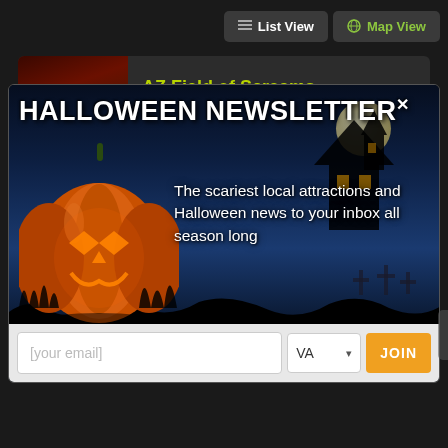[Figure (screenshot): Mobile app screenshot showing List View and Map View buttons in top navigation bar on dark background]
AZ Field of Screams
Glendale, AZ
[Figure (screenshot): Halloween Newsletter popup modal with spooky night scene background showing a jack-o-lantern pumpkin, haunted house silhouette, moon, and graveyard. Contains headline 'HALLOWEEN NEWSLETTER' with close X, body text 'The scariest local attractions and Halloween news to your inbox all season long', and a form with email input, state selector (VA), and JOIN button]
HALLOWEEN NEWSLETTER
The scariest local attractions and Halloween news to your inbox all season long
[your email]
VA
JOIN